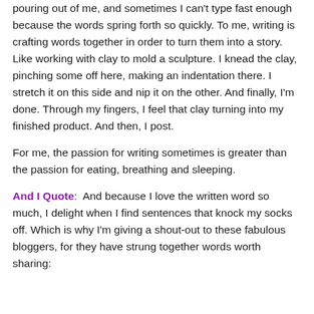pouring out of me, and sometimes I can't type fast enough because the words spring forth so quickly. To me, writing is crafting words together in order to turn them into a story. Like working with clay to mold a sculpture. I knead the clay, pinching some off here, making an indentation there. I stretch it on this side and nip it on the other. And finally, I'm done. Through my fingers, I feel that clay turning into my finished product. And then, I post.
For me, the passion for writing sometimes is greater than the passion for eating, breathing and sleeping.
And I Quote:  And because I love the written word so much, I delight when I find sentences that knock my socks off. Which is why I'm giving a shout-out to these fabulous bloggers, for they have strung together words worth sharing: